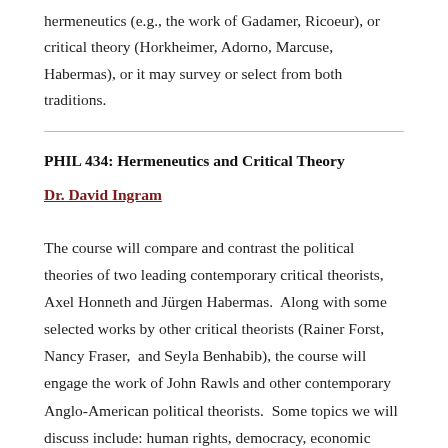hermeneutics (e.g., the work of Gadamer, Ricoeur), or critical theory (Horkheimer, Adorno, Marcuse, Habermas), or it may survey or select from both traditions.
PHIL 434: Hermeneutics and Critical Theory
Dr. David Ingram
The course will compare and contrast the political theories of two leading contemporary critical theorists, Axel Honneth and Jürgen Habermas.  Along with some selected works by other critical theorists (Rainer Forst, Nancy Fraser,  and Seyla Benhabib), the course will engage the work of John Rawls and other contemporary Anglo-American political theorists.  Some topics we will discuss include: human rights, democracy, economic